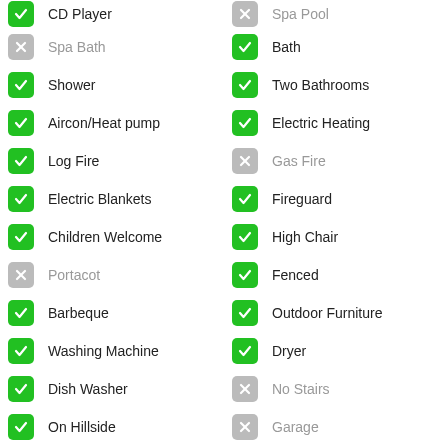CD Player (unchecked)
Spa Pool (unchecked)
Spa Bath (unchecked)
Bath (checked)
Shower (checked)
Two Bathrooms (checked)
Aircon/Heat pump (checked)
Electric Heating (checked)
Log Fire (checked)
Gas Fire (unchecked)
Electric Blankets (checked)
Fireguard (checked)
Children Welcome (checked)
High Chair (checked)
Portacot (unchecked)
Fenced (checked)
Barbeque (checked)
Outdoor Furniture (checked)
Washing Machine (checked)
Dryer (checked)
Dish Washer (checked)
No Stairs (unchecked)
On Hillside (checked)
Garage (unchecked)
Carport (unchecked)